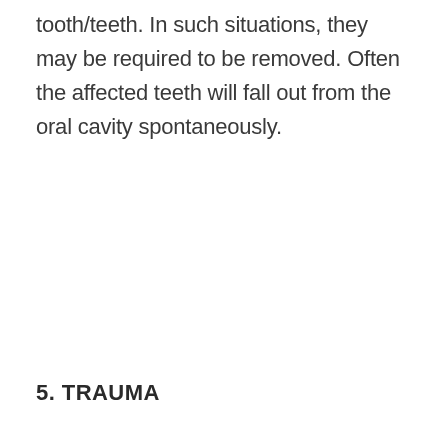tooth/teeth. In such situations, they may be required to be removed. Often the affected teeth will fall out from the oral cavity spontaneously.
5. TRAUMA